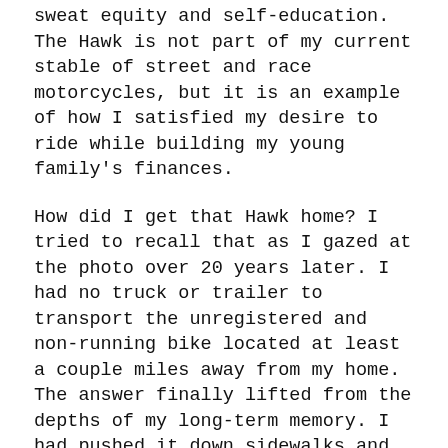sweat equity and self-education. The Hawk is not part of my current stable of street and race motorcycles, but it is an example of how I satisfied my desire to ride while building my young family's finances.
How did I get that Hawk home? I tried to recall that as I gazed at the photo over 20 years later. I had no truck or trailer to transport the unregistered and non-running bike located at least a couple miles away from my home. The answer finally lifted from the depths of my long-term memory. I had pushed it down sidewalks and across intersections all the way home after filling the tires with air. I made it home after hours of pure physical exertion along with the angst associated with being spotted by a police cruiser that would certainly stop to harass me about the obviously stolen bike, or commit me to a psych assessment when I proved I owned the bike and actually initiated this journey on purpose. In hindsight the journey